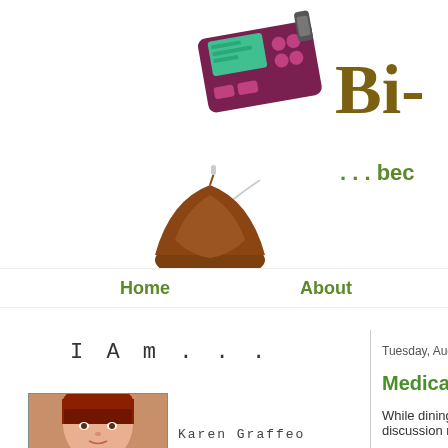[Figure (photo): Insulin pump device with a chocolate candy piece attached to tubing, serving as a blog header image]
Bi... ...bec
Home   About
I Am . . .
[Figure (photo): Profile photo of Karen Graffeo, a woman with red hair and bangs]
Karen Graffeo
Tuesday, August 2
Medical ...
While dining w... discussion rolle...